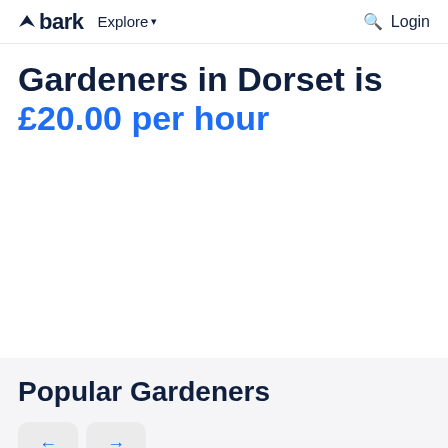bark  Explore  Login
Gardeners in Dorset is £20.00 per hour
Popular Gardeners